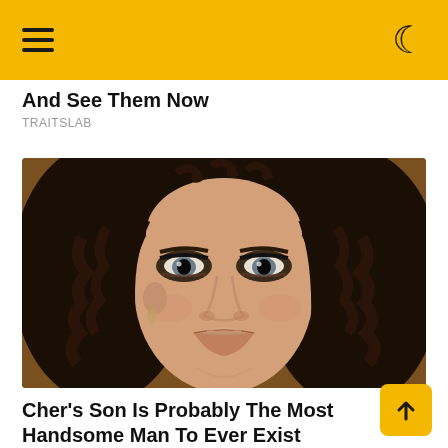navigation header with hamburger menu and moon/dark mode icon
And See Them Now
TRAITSLAB
[Figure (photo): Close-up portrait of a woman with long curly dark hair, heavy eye makeup, and nude lips. The background is warm/golden toned.]
Cher's Son Is Probably The Most Handsome Man To Ever Exist
YOUR DAILY SPORT FIX
[Figure (photo): Partially visible image at bottom of screen — a woman with light auburn/brown hair, cropped.]